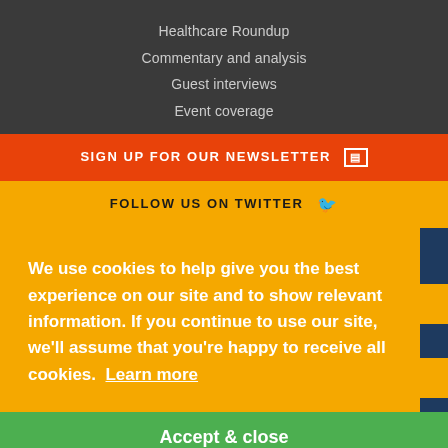Healthcare Roundup
Commentary and analysis
Guest interviews
Event coverage
SIGN UP FOR OUR NEWSLETTER
FOLLOW US ON TWITTER
We use cookies to help give you the best experience on our site and to show relevant information. If you continue to use our site, we'll assume that you're happy to receive all cookies. Learn more
Accept & close
Tel: +44 (0)208 103 1010